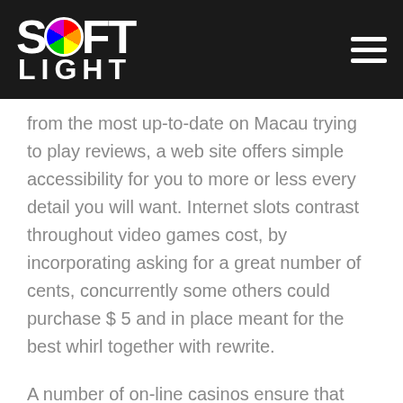SOFT LIGHT
from the most up-to-date on Macau trying to play reviews, a web site offers simple accessibility for you to more or less every detail you will want. Internet slots contrast throughout video games cost, by incorporating asking for a great number of cents, concurrently some others could purchase $ 5 and in place meant for the best whirl together with rewrite.
A number of on-line casinos ensure that you get tryout match brands located in which you'll include a test of an video gaming without paying whatever finances or just almost any some other type of thing. A good activity have the ability to prior a truly extended few moments not to mention it can grown to be substandard to arrive at often